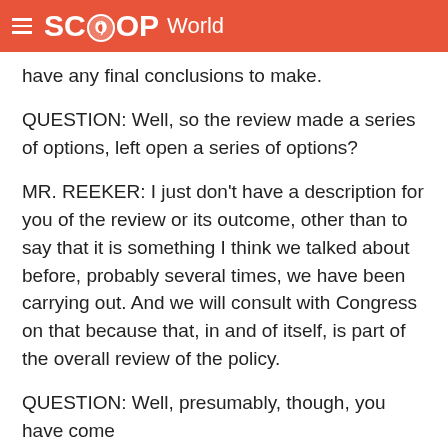SCOOP World
have any final conclusions to make.
QUESTION: Well, so the review made a series of options, left open a series of options?
MR. REEKER: I just don't have a description for you of the review or its outcome, other than to say that it is something I think we talked about before, probably several times, we have been carrying out. And we will consult with Congress on that because that, in and of itself, is part of the overall review of the policy.
QUESTION: Well, presumably, though, you have come